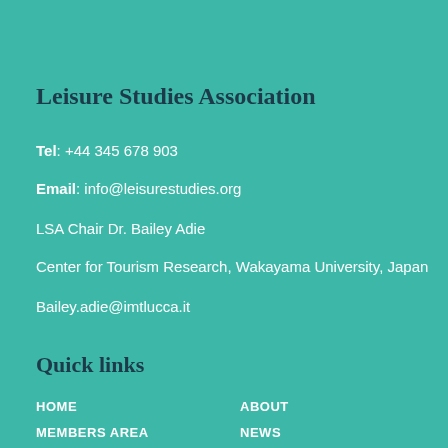Leisure Studies Association
Tel: +44 345 678 903
Email: info@leisurestudies.org
LSA Chair Dr. Bailey Adie
Center for Tourism Research, Wakayama University, Japan
Bailey.adie@imtlucca.it
Quick links
HOME
MEMBERS AREA
EVENTS
ABOUT
NEWS
BLOG